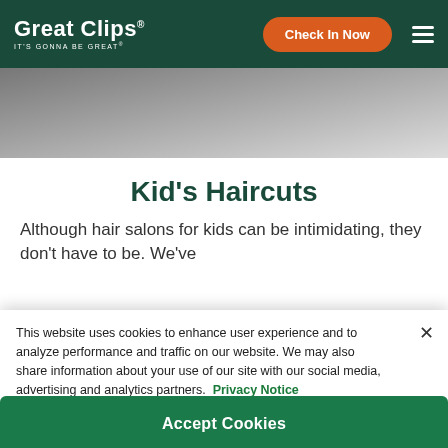Great Clips® IT'S GONNA BE GREAT®
[Figure (photo): Partial grayscale photo of a person, used as hero banner image behind the navigation bar]
Kid's Haircuts
Although hair salons for kids can be intimidating, they don't have to be. We've
This website uses cookies to enhance user experience and to analyze performance and traffic on our website. We may also share information about your use of our site with our social media, advertising and analytics partners. Privacy Notice
Do Not Sell My Personal Information
Accept Cookies